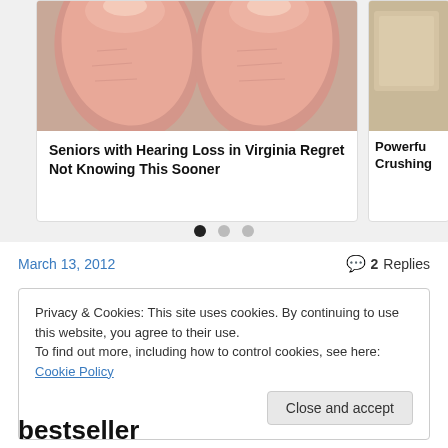[Figure (photo): Carousel showing two cards. Left card: close-up photo of fingertips/fingers with dry skin, with caption 'Seniors with Hearing Loss in Virginia Regret Not Knowing This Sooner'. Right card: partially visible, showing a piece of bread or similar item, with partial text 'Powerfu Crushing'. Three pagination dots below, first dot active.]
March 13, 2012
2 Replies
Privacy & Cookies: This site uses cookies. By continuing to use this website, you agree to their use.
To find out more, including how to control cookies, see here: Cookie Policy
Close and accept
bestseller